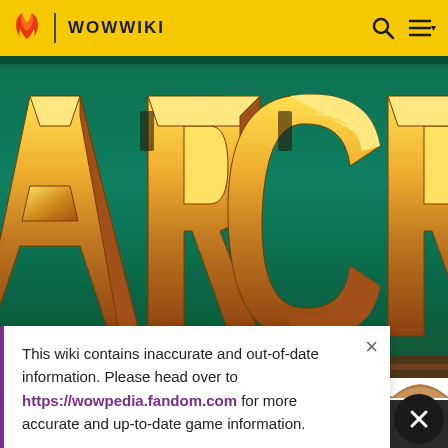WOWWIKI
[Figure (screenshot): Warcraft game title logo showing gold 3D letters 'ARCRA' on a teal/green background — partial view of the Warcraft logo]
This wiki contains inaccurate and out-of-date information. Please head over to https://wowpedia.fandom.com for more accurate and up-to-date game information.